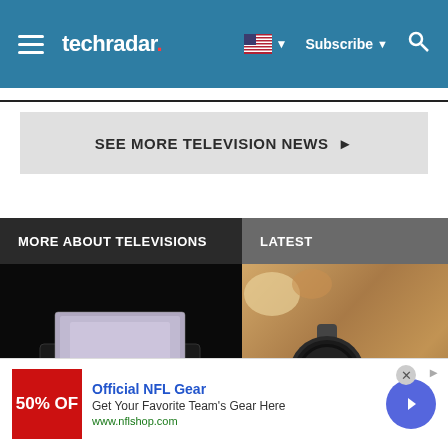techradar — Subscribe — Search
SEE MORE TELEVISION NEWS ▶
MORE ABOUT TELEVISIONS
LATEST
[Figure (photo): Dark product photo of a TV or box device on a black background]
[Figure (photo): Smartwatch with round face showing 12:00, resting on a wooden board with food items]
Official NFL Gear — Get Your Favorite Team's Gear Here — www.nflshop.com — 50% OFF